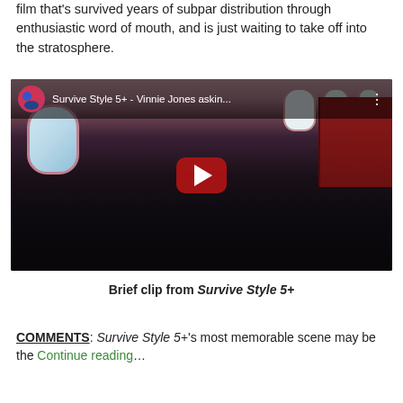film that's survived years of subpar distribution through enthusiastic word of mouth, and is just waiting to take off into the stratosphere.
[Figure (screenshot): YouTube video embed showing a scene from Survive Style 5+ with Vinnie Jones on an airplane. The video title bar reads 'Survive Style 5+ - Vinnie Jones askin...' with a channel avatar and three-dot menu. A large red YouTube play button is centered over the video frame.]
Brief clip from Survive Style 5+
COMMENTS: Survive Style 5+'s most memorable scene may be the Continue reading…